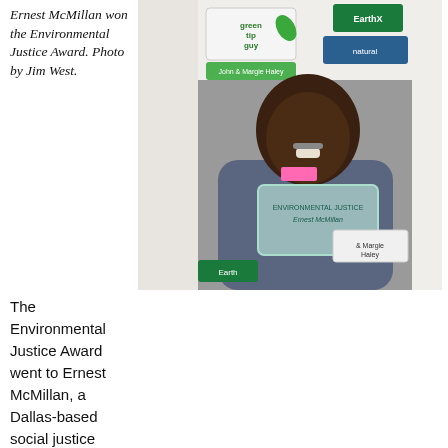Ernest McMillan won the Environmental Justice Award. Photo by Jim West.
[Figure (photo): Ernest McMillan standing and holding a glass Environmental Justice award plaque, with sponsor banners in the background including EarthX, green tip guy, natural, and other logos.]
The Environmental Justice Award went to Ernest McMillan, a Dallas-based social justice leader, who launched the Environmental Justice Network of Dallas last year.
A relative newcomer to environmental causes, McMillan leaped in to organize a 3-day summit with General Russel Honoré, an internationally known author and speaker on disaster preparedness who now focuses on addressing climate change.